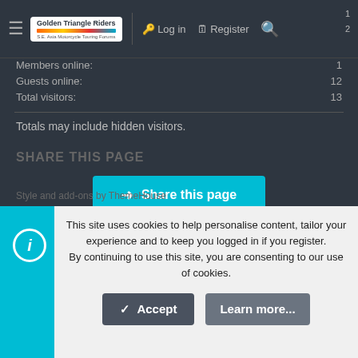Golden Triangle Riders — S.E. Asia Motorcycle Touring Forums | Log in | Register
Members online: 1
Guests online: 12
Total visitors: 13
Totals may include hidden visitors.
SHARE THIS PAGE
Share this page
Style and add-ons by ThemeHouse
This site uses cookies to help personalise content, tailor your experience and to keep you logged in if you register. By continuing to use this site, you are consenting to our use of cookies.
Accept
Learn more...